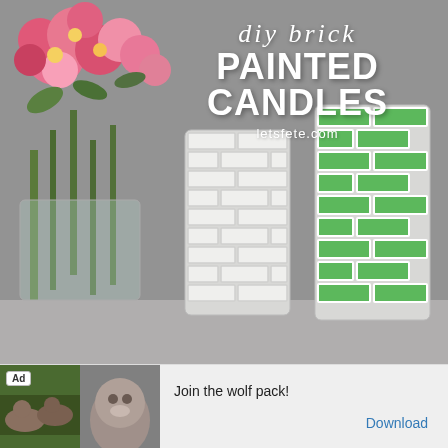[Figure (photo): DIY brick painted candles - two glass jar candles with brick patterns (one white, one green) surrounded by flowers, with title overlay text 'diy brick PAINTED CANDLES letsfete.com']
diy brick PAINTED CANDLES letsfete.com
[Figure (photo): Advertisement banner with wolf images and text 'Join the wolf pack!' and 'Download' link, labeled 'Ad']